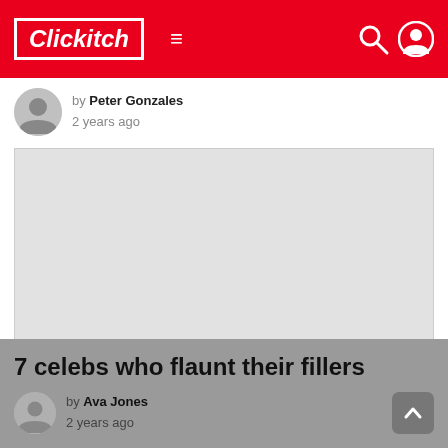Clickitch
by Peter Gonzales
2 years ago
[Figure (photo): Large image placeholder (light gray rectangle)]
0 Shares
× close
7 celebs who flaunt their fillers
by Ava Jones
2 years ago